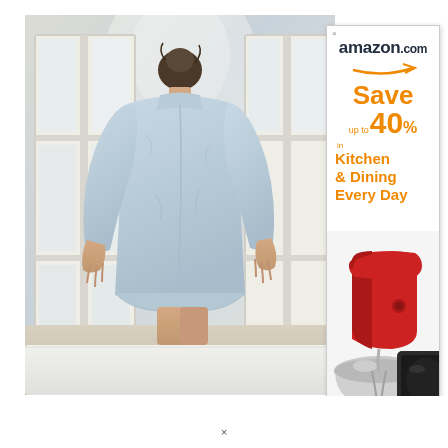[Figure (photo): A woman in a light blue oversized shirt standing at French doors/windows, viewed from behind, with morning light coming through. She appears to be in a bedroom setting with white bed linens visible at bottom.]
[Figure (advertisement): Amazon.com advertisement panel. Shows amazon.com logo with orange arrow, text 'Save up to 40% in Kitchen & Dining Every Day' in orange, and an image of red KitchenAid stand mixer and black appliance at bottom.]